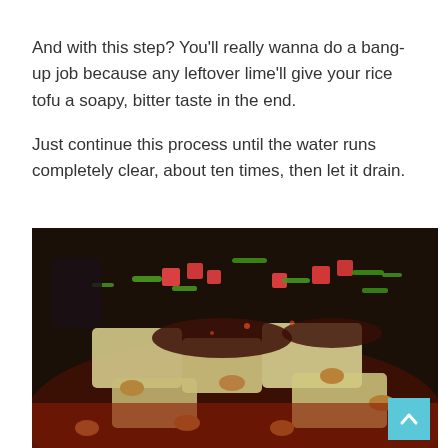And with this step? You'll really wanna do a bang-up job because any leftover lime'll give your rice tofu a soapy, bitter taste in the end.
Just continue this process until the water runs completely clear, about ten times, then let it drain.
[Figure (photo): A dish of rice tofu (liangfen) topped with diced red and green vegetables, peanuts, chopped scallions, and dark spicy sauce, served in a dark bowl with reddish broth.]